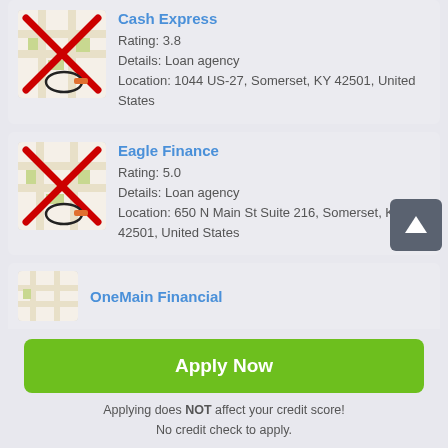[Figure (screenshot): Map thumbnail for Cash Express with red X overlay and circled location pin]
Cash Express
Rating: 3.8
Details: Loan agency
Location: 1044 US-27, Somerset, KY 42501, United States
[Figure (screenshot): Map thumbnail for Eagle Finance with red X overlay and circled location pin]
Eagle Finance
Rating: 5.0
Details: Loan agency
Location: 650 N Main St Suite 216, Somerset, KY 42501, United States
[Figure (screenshot): Partial map thumbnail for OneMain Financial]
OneMain Financial
Apply Now
Applying does NOT affect your credit score!
No credit check to apply.